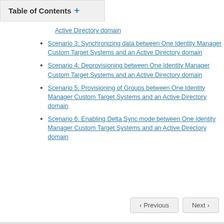Table of Contents +
Active Directory domain
Scenario 3: Synchronizing data between One Identity Manager Custom Target Systems and an Active Directory domain
Scenario 4: Deprovisioning between One Identity Manager Custom Target Systems and an Active Directory domain
Scenario 5: Provisioning of Groups between One Identity Manager Custom Target Systems and an Active Directory domain
Scenario 6: Enabling Delta Sync mode between One Identity Manager Custom Target Systems and an Active Directory domain